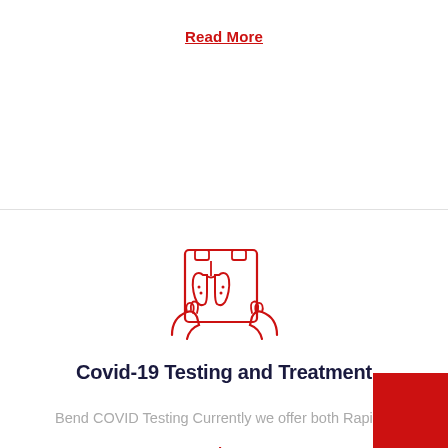Read More
[Figure (illustration): Red line-art icon of a chest X-ray being held up showing lungs]
Covid-19 Testing and Treatment
Bend COVID Testing Currently we offer both Rapid...
Read More